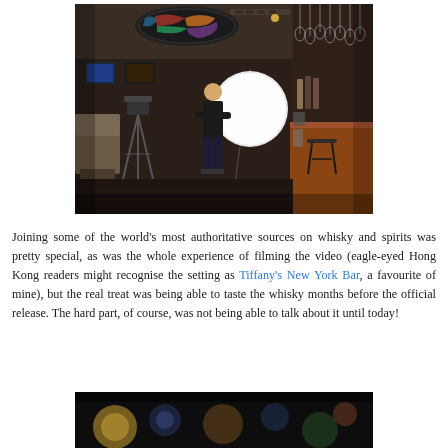[Figure (photo): Interior of a dimly lit bar/restaurant with a camera on a tripod, a person standing in the middle, a bright circular light, a bar counter on the right, stained glass ceiling feature, and dim ambient lighting.]
Joining some of the world's most authoritative sources on whisky and spirits was pretty special, as was the whole experience of filming the video (eagle-eyed Hong Kong readers might recognise the setting as Tiffany's New York Bar, a favourite of mine), but the real treat was being able to taste the whisky months before the official release. The hard part, of course, was not being able to talk about it until today!
[Figure (photo): Blurred dark image with bokeh light effects, orange and green circular light blurs against a dark background.]